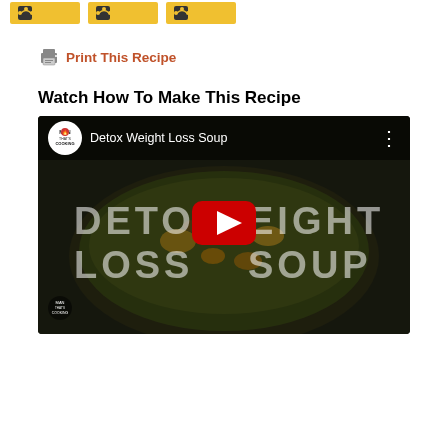[Figure (screenshot): Three social share buttons with icons on gold/yellow background at top of page]
Print This Recipe
Watch How To Make This Recipe
[Figure (screenshot): YouTube video embed thumbnail showing 'Detox Weight Loss Soup' video by Man That's Cooking channel, with soup image in background, play button, and text overlay reading DETOX WEIGHT LOSS SOUP]